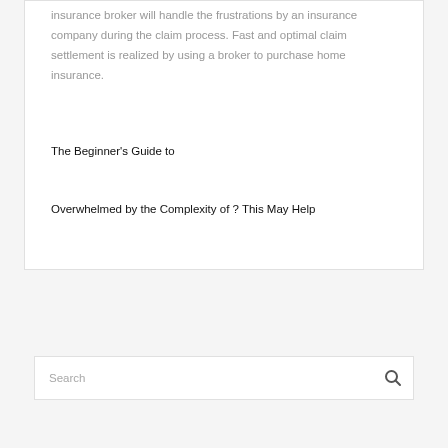insurance broker will handle the frustrations by an insurance company during the claim process. Fast and optimal claim settlement is realized by using a broker to purchase home insurance.
The Beginner's Guide to
Overwhelmed by the Complexity of ? This May Help
Search